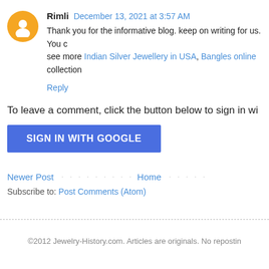Rimli  December 13, 2021 at 3:57 AM
Thank you for the informative blog. keep on writing for us. You can see more Indian Silver Jewellery in USA, Bangles online collection
Reply
To leave a comment, click the button below to sign in wi
SIGN IN WITH GOOGLE
Newer Post · · · · · · · · · Home · · · · ·
Subscribe to: Post Comments (Atom)
©2012 Jewelry-History.com. Articles are originals. No repostin